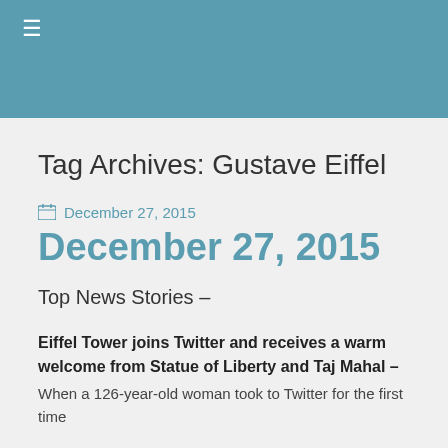≡
Tag Archives: Gustave Eiffel
December 27, 2015
December 27, 2015
Top News Stories –
Eiffel Tower joins Twitter and receives a warm welcome from Statue of Liberty and Taj Mahal –
When a 126-year-old woman took to Twitter for the first time